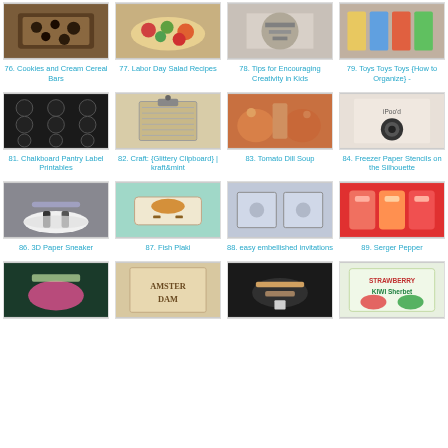[Figure (photo): Cookies and Cream Cereal Bars food photo]
76. Cookies and Cream Cereal Bars
[Figure (photo): Labor Day Salad Recipes food photo]
77. Labor Day Salad Recipes
[Figure (photo): Tips for Encouraging Creativity in Kids photo]
78. Tips for Encouraging Creativity in Kids
[Figure (photo): Toys Toys Toys How to Organize photo]
79. Toys Toys Toys {How to Organize} -
[Figure (photo): Chalkboard Pantry Label Printables photo]
81. Chalkboard Pantry Label Printables
[Figure (photo): Glittery Clipboard craft photo]
82. Craft: {Glittery Clipboard} | kraft&mint
[Figure (photo): Tomato Dill Soup food photo]
83. Tomato Dill Soup
[Figure (photo): Freezer Paper Stencils on the Silhouette photo]
84. Freezer Paper Stencils on the Silhouette
[Figure (photo): 3D Paper Sneaker craft photo]
86. 3D Paper Sneaker
[Figure (photo): Fish Plaki recipe photo]
87. Fish Plaki
[Figure (photo): easy embellished invitations photo]
88. easy embellished invitations
[Figure (photo): Serger Pepper photo]
89. Serger Pepper
[Figure (photo): Bottom row item 1 photo]
[Figure (photo): Bottom row item 2 photo]
[Figure (photo): Bottom row item 3 photo]
[Figure (photo): Strawberry Kiwi Sherbet photo]